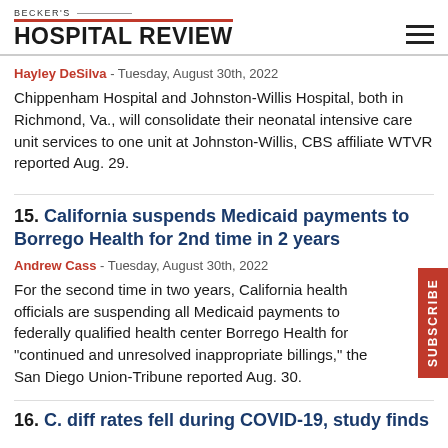BECKER'S HOSPITAL REVIEW
Hayley DeSilva - Tuesday, August 30th, 2022
Chippenham Hospital and Johnston-Willis Hospital, both in Richmond, Va., will consolidate their neonatal intensive care unit services to one unit at Johnston-Willis, CBS affiliate WTVR reported Aug. 29.
15. California suspends Medicaid payments to Borrego Health for 2nd time in 2 years
Andrew Cass - Tuesday, August 30th, 2022
For the second time in two years, California health officials are suspending all Medicaid payments to federally qualified health center Borrego Health for "continued and unresolved inappropriate billings," the San Diego Union-Tribune reported Aug. 30.
16. C. diff rates fell during COVID-19, study finds